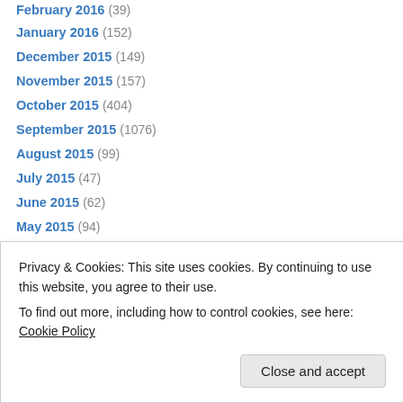January 2016 (152)
December 2015 (149)
November 2015 (157)
October 2015 (404)
September 2015 (1076)
August 2015 (99)
July 2015 (47)
June 2015 (62)
May 2015 (94)
April 2015 (139)
March 2015 (253)
February 2015 (467)
January 2015 (859)
Privacy & Cookies: This site uses cookies. By continuing to use this website, you agree to their use. To find out more, including how to control cookies, see here: Cookie Policy
Close and accept